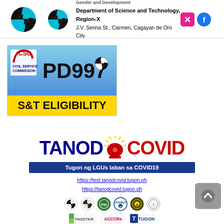[Figure (logo): DOST Region-X gender and development logo with black/teal quarters icon, agency name text, and additional icons (pink X, blue social icon) on the right]
[Figure (illustration): CSC PD997 S&T Eligibility banner: blue background with Civil Service Commission logo, PD997 text, DOST-style icon, and yellow bar at bottom reading 'S&T ELIGIBILITY']
[Figure (logo): TANOD COVID logo with dark blue 'TANOD' text, red siren bell icon with yellow rays, red 'COVID' text; below: dark blue bar 'Tugon ng LGUs laban sa COVID19'; links https://test.tanodcovid.tugon.ph and https://tanodcovid.tugon.ph; row of partner logos including DOST, civil service, Ateneo, and others; second row with PASSTER, ACCCRe, TUGON logos]